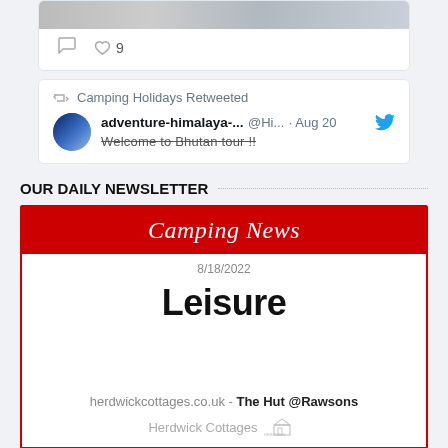[Figure (screenshot): Top of a Twitter card showing a photo strip with social action icons: comment icon, heart icon with count '9']
[Figure (screenshot): Twitter retweet card: 'Camping Holidays Retweeted', avatar, handle 'adventure-himalaya-...' @Hi... · Aug 20, with Twitter bird icon, preview text 'Welcome to Bhutan tour !!']
OUR DAILY NEWSLETTER
[Figure (screenshot): Newsletter preview card with red header 'Camping News', date 8/18/2022, large bold title 'Leisure', link text 'herdwickcottages.co.uk - The Hut @Rawsons', Herdwick Cottages branding logo]